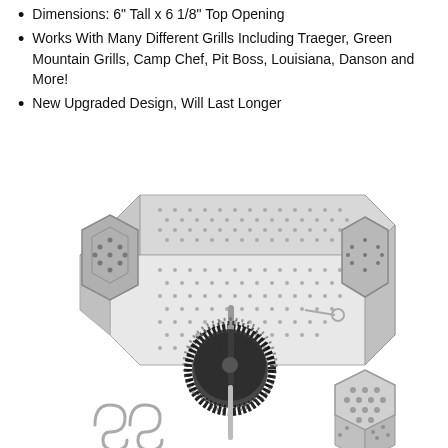Dimensions: 6" Tall x 6 1/8" Top Opening
Works With Many Different Grills Including Traeger, Green Mountain Grills, Camp Chef, Pit Boss, Louisiana, Danson and More!
New Upgraded Design, Will Last Longer
[Figure (photo): Product photo showing a hexagonal stainless steel smoke tube pellet smoker with perforated mesh surface, alongside a cylindrical cleaning brush and two S-hooks, plus a small hexagonal smoke box accessory in the bottom right corner.]